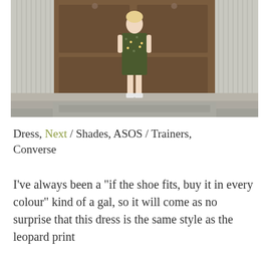[Figure (photo): A woman standing on the stone steps of a building with large wooden doors and white classical columns. She is wearing a floral/patterned dress and white trainers (Converse).]
Dress, Next / Shades, ASOS / Trainers, Converse
I’ve always been a “if the shoe fits, buy it in every colour” kind of a gal, so it will come as no surprise that this dress is the same style as the leopard print